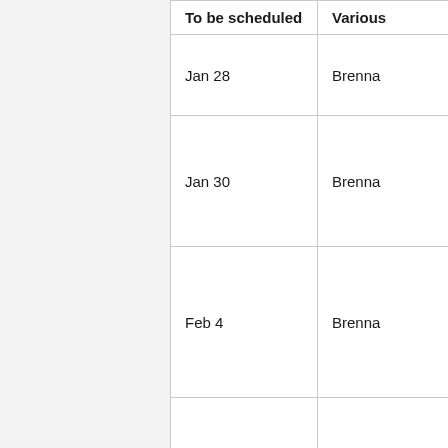| To be scheduled | Various |
| --- | --- |
| Jan 28 | Brenna |
| Jan 30 | Brenna |
| Feb 4 | Brenna |
| Feb 6 | Jason |